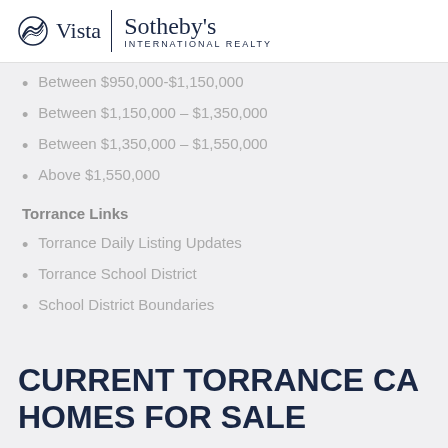[Figure (logo): Vista Sotheby's International Realty logo with circular icon]
Between $950,000-$1,150,000
Between $1,150,000 – $1,350,000
Between $1,350,000 – $1,550,000
Above $1,550,000
Torrance Links
Torrance Daily Listing Updates
Torrance School District
School District Boundaries
CURRENT TORRANCE CA HOMES FOR SALE